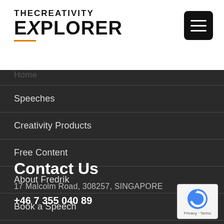THE CREATIVITY EXPLORER
Home
Speeches
Creativity Products
Free Content
About Fredrik
Book a Speech
Contact Us
17 Malcolm Road, 308257, SINGAPORE
+46 7 355 040 89
[Figure (logo): reCAPTCHA badge with Privacy and Terms links]